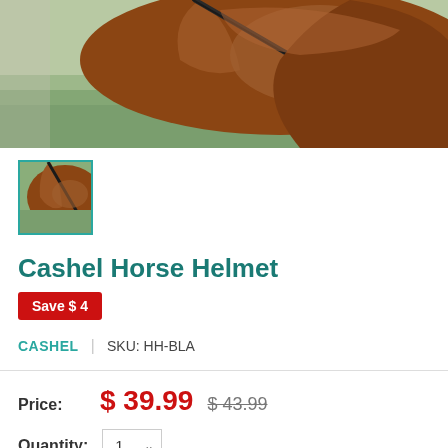[Figure (photo): Close-up photo of a brown horse with a rope/rein visible, green grass in background]
[Figure (photo): Small thumbnail of the same brown horse photo, selected with teal border]
Cashel Horse Helmet
Save $ 4
CASHEL | SKU: HH-BLA
Price: $ 39.99  $ 43.99
Quantity: 1